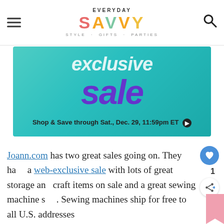EVERYDAY SAVVY STYLE · GIFTS · PARTIES
[Figure (screenshot): Joann web-exclusive sale banner on teal/turquoise background. Text reads 'exclusive sale' with 'Shop & Save through Sat., Dec. 29, 11:59pm ET ▶']
Joann.com has two great sales going on. They have a web-exclusive sale with lots of great storage and craft items on sale and a great sewing machine sale. Sewing machines ship for free to all U.S. addresses